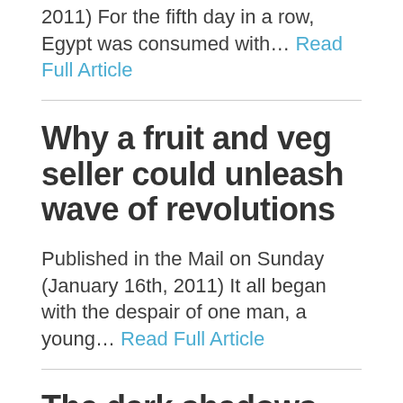2011) For the fifth day in a row, Egypt was consumed with... Read Full Article
Why a fruit and veg seller could unleash wave of revolutions
Published in the Mail on Sunday (January 16th, 2011) It all began with the despair of one man, a young... Read Full Article
The dark shadows that stain the new darling of Africa
Published in The Independent (November 27th, 2009) The reason for this rather to...